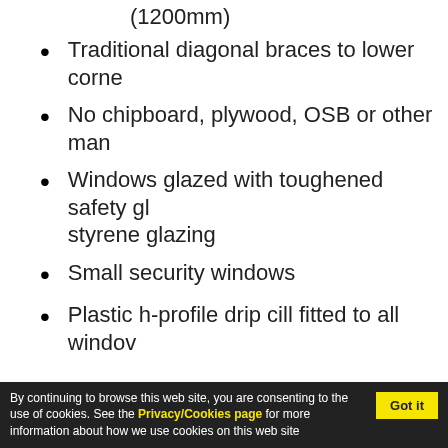(1200mm)
Traditional diagonal braces to lower corners
No chipboard, plywood, OSB or other manufactured boards
Windows glazed with toughened safety glass or poly styrene glazing
Small security windows
Plastic h-profile drip cill fitted to all windows
Modular design allowing many possible door and window configurations
6'x4' and 6'x6' sheds include 1 window panel and no opening windows
6'x8' and 6'x10' sheds include 2 window panels
By continuing to browse this web site, you are consenting to the use of cookies. See the Privacy/Cookies page for more information about how we use cookies on this web site